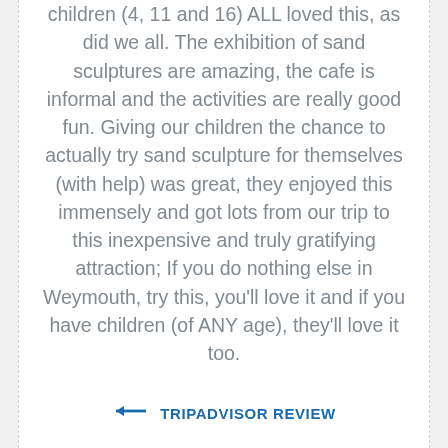children (4, 11 and 16) ALL loved this, as did we all. The exhibition of sand sculptures are amazing, the cafe is informal and the activities are really good fun. Giving our children the chance to actually try sand sculpture for themselves (with help) was great, they enjoyed this immensely and got lots from our trip to this inexpensive and truly gratifying attraction; If you do nothing else in Weymouth, try this, you'll love it and if you have children (of ANY age), they'll love it too.
← TRIPADVISOR REVIEW